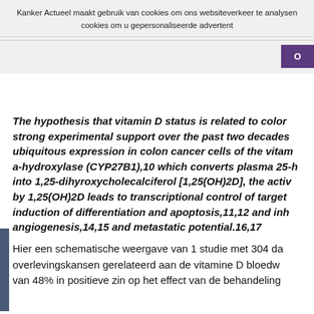Kanker Actueel maakt gebruik van cookies om ons websiteverkeer te analysen cookies om u gepersonaliseerde advertent
The hypothesis that vitamin D status is related to color strong experimental support over the past two decades ubiquitous expression in colon cancer cells of the vitam a-hydroxylase (CYP27B1),10 which converts plasma 25-h into 1,25-dihyroxycholecalciferol [1,25(OH)2D], the activ by 1,25(OH)2D leads to transcriptional control of target induction of differentiation and apoptosis,11,12 and inh angiogenesis,14,15 and metastatic potential.16,17
Hier een schematische weergave van 1 studie met 304 da overlevingskansen gerelateerd aan de vitamine D bloedw van 48% in positieve zin op het effect van de behandeling